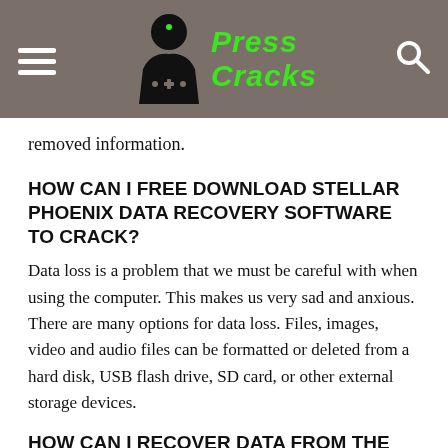Press Cracks
removed information.
HOW CAN I FREE DOWNLOAD STELLAR PHOENIX DATA RECOVERY SOFTWARE TO CRACK?
Data loss is a problem that we must be careful with when using the computer. This makes us very sad and anxious. There are many options for data loss. Files, images, video and audio files can be formatted or deleted from a hard disk, USB flash drive, SD card, or other external storage devices.
HOW CAN I RECOVER DATA FROM THE ABOVE SITUATIONS?